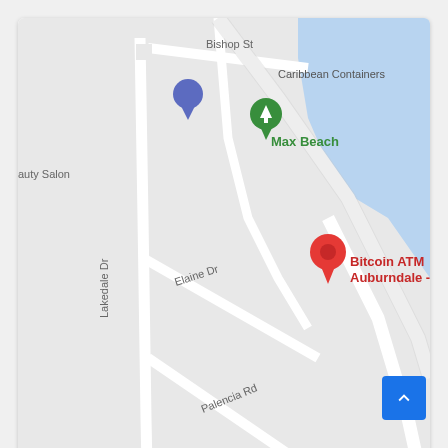[Figure (map): Google Maps screenshot showing the location of Bitcoin ATM Auburndale - Coinhub near Lake Ariana Blvd, Auburndale, FL. Streets visible include Bishop St, Elaine Dr, Palencia Rd, Lake Lena Blvd, Lake Ariana Blvd, and Ramsgate. Landmarks include Caribbean Containers, Max Beach, and a beauty salon. Map includes zoom controls (+/-), a satellite thumbnail, Google logo, and footer text: Keyboard shortcuts | Map data ©2022 | Terms of Use.]